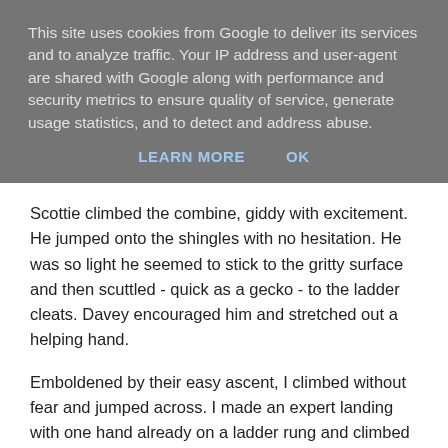This site uses cookies from Google to deliver its services and to analyze traffic. Your IP address and user-agent are shared with Google along with performance and security metrics to ensure quality of service, generate usage statistics, and to detect and address abuse.
LEARN MORE    OK
Scottie climbed the combine, giddy with excitement. He jumped onto the shingles with no hesitation. He was so light he seemed to stick to the gritty surface and then scuttled - quick as a gecko - to the ladder cleats. Davey encouraged him and stretched out a helping hand.
Emboldened by their easy ascent, I climbed without fear and jumped across. I made an expert landing with one hand already on a ladder rung and climbed straight up. I took care not to bark my knees on the abrasive shingles, bare-legged in my cut off jean shorts.